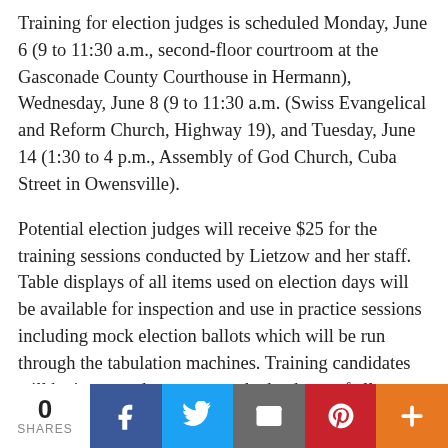Training for election judges is scheduled Monday, June 6 (9 to 11:30 a.m., second-floor courtroom at the Gasconade County Courthouse in Hermann), Wednesday, June 8 (9 to 11:30 a.m. (Swiss Evangelical and Reform Church, Highway 19), and Tuesday, June 14 (1:30 to 4 p.m., Assembly of God Church, Cuba Street in Owensville).
Potential election judges will receive $25 for the training sessions conducted by Lietzow and her staff. Table displays of all items used on election days will be available for inspection and use in practice sessions including mock election ballots which will be run through the tabulation machines. Training candidates will be instructed on set up and take down of all equipment used on election day.
“There will be a thorough review of all procedures from
0 SHARES  [Facebook] [Twitter] [Email] [Pinterest] [More]